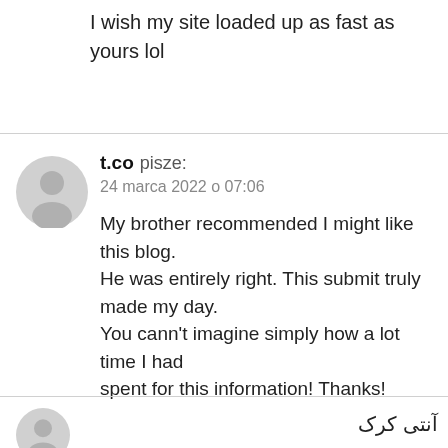I wish my site loaded up as fast as yours lol
t.co pisze:
24 marca 2022 o 07:06

My brother recommended I might like this blog.
He was entirely right. This submit truly made my day.
You cann't imagine simply how a lot time I had spent for this information! Thanks!
آنتی کرک